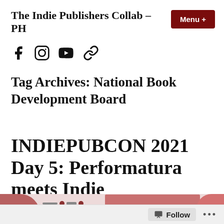The Indie Publishers Collab – PH
[Figure (infographic): Social media icons: Facebook, Instagram, YouTube, and a link icon]
Tag Archives: National Book Development Board
INDIEPUBCON 2021 Day 5: Performatura meets Indie
[Figure (photo): Book cover banner image for INDIEPUBCON 2021 showing book covers and logos including text 'Indikahanap ng alahat publishing' and 'OROSA-NAKPIL']
Follow